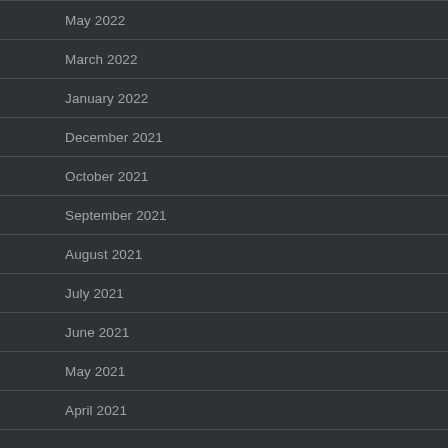May 2022
March 2022
January 2022
December 2021
October 2021
September 2021
August 2021
July 2021
June 2021
May 2021
April 2021